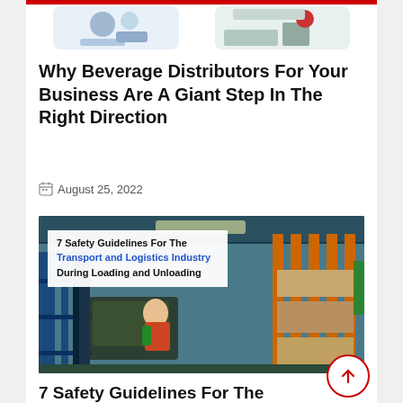[Figure (illustration): Partial view of two article thumbnail images at the top of a blog listing page — beverage/logistics themed illustrations]
Why Beverage Distributors For Your Business Are A Giant Step In The Right Direction
August 25, 2022
[Figure (photo): Warehouse worker operating a forklift in a large logistics warehouse with tall blue metal shelving racks loaded with boxes. Overlay text reads: '7 Safety Guidelines For The Transport and Logistics Industry During Loading and Unloading']
7 Safety Guidelines For The Transport and Logistics Industry During Loading and Unloading